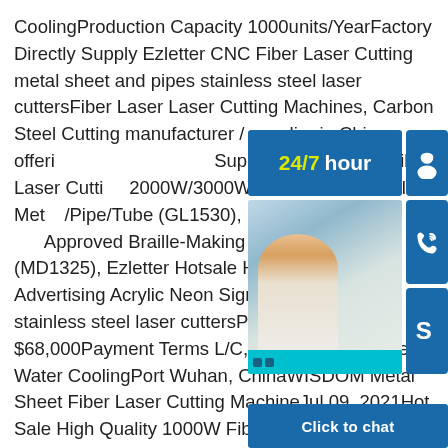CoolingProduction Capacity 1000units/YearFactory Directly Supply Ezletter CNC Fiber Laser Cutting metal sheet and pipes stainless steel laser cuttersFiber Laser Laser Cutting Machines, Carbon Steel Cutting manufacturer / supplier in China, offering Factory Directly Supply Ezletter CNC Fiber Laser Cutting 2000W/3000W for Stainless Steel Metal Sheet/Pipe/Tube (GL1530), Ezletter High Pressure CE Approved Braille-Making Signs Engraving Machine (MD1325), Ezletter Hotsale High Precision Laser Advertising Acrylic Neon Signs metal stainless steel laser cuttersPrice Range $68,000Payment Terms L/C, T/T, Western System Water CoolingPort Wuhan, ChinaWISDOM Metal Sheet Fiber Laser Cutting MachineJul 09, 2021Hot Sale High Quality 1000W Fiber Laser Cutter Cutting Machine Wt-3015D for Metal Sheet/Plate Steel Tube Pipe. US $27,000-30,000 / Piece. High Quality High Precision Laser Machine for Stainless Steel/Carbon/Alloy/ Metal
[Figure (photo): Customer service representative photo with 24/7 hour banner, phone icon, Skype icon, and Click to chat button overlay]